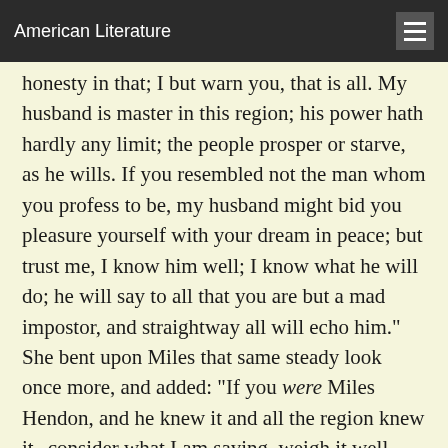American Literature
honesty in that; I but warn you, that is all. My husband is master in this region; his power hath hardly any limit; the people prosper or starve, as he wills. If you resembled not the man whom you profess to be, my husband might bid you pleasure yourself with your dream in peace; but trust me, I know him well; I know what he will do; he will say to all that you are but a mad impostor, and straightway all will echo him." She bent upon Miles that same steady look once more, and added: "If you were Miles Hendon, and he knew it and all the region knew it--consider what I am saying, weigh it well--you would stand in the same peril, your punishment would be no less sure; he would deny you and